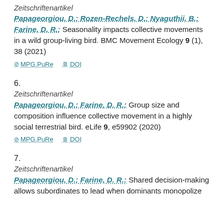Zeitschriftenartikel
Papageorgiou, D.; Rozen-Rechels, D.; Nyaguthii, B.; Farine, D. R.: Seasonality impacts collective movements in a wild group-living bird. BMC Movement Ecology 9 (1), 38 (2021)
MPG.PuRe   DOI
6.
Zeitschriftenartikel
Papageorgiou, D.; Farine, D. R.: Group size and composition influence collective movement in a highly social terrestrial bird. eLife 9, e59902 (2020)
MPG.PuRe   DOI
7.
Zeitschriftenartikel
Papageorgiou, D.; Farine, D. R.: Shared decision-making allows subordinates to lead when dominants monopolize